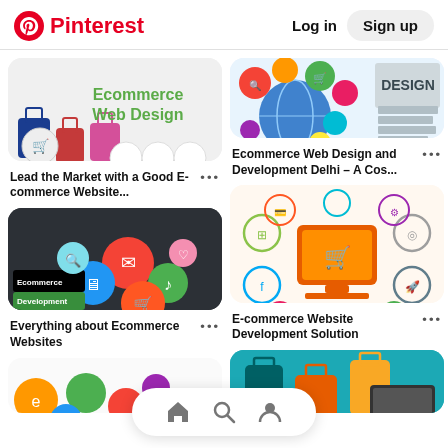Pinterest — Log in  Sign up
[Figure (screenshot): Ecommerce Web Design illustration with shopping bags and cart icons]
Lead the Market with a Good E-commerce Website...
[Figure (screenshot): Ecommerce Development illustration with colorful icons]
Everything about Ecommerce Websites
[Figure (screenshot): Colourful ecommerce icons with globe and design text]
Ecommerce Web Design and Development Delhi – A Cos...
[Figure (screenshot): E-commerce website development solution with shopping cart monitor]
E-commerce Website Development Solution
[Figure (screenshot): Teal ecommerce shopping bags and laptop illustration]
[Figure (screenshot): Ecommerce icons cluster at bottom left]
Home  Search  Profile navigation icons